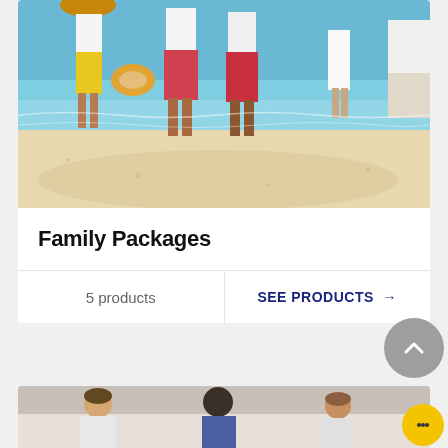[Figure (photo): Family on a beach, showing legs and feet on white sand with turquoise water in the background. Adults and children in colorful shorts and dresses.]
Family Packages
5 products
SEE PRODUCTS →
[Figure (photo): Group of men smiling, partially visible at the bottom of the page.]